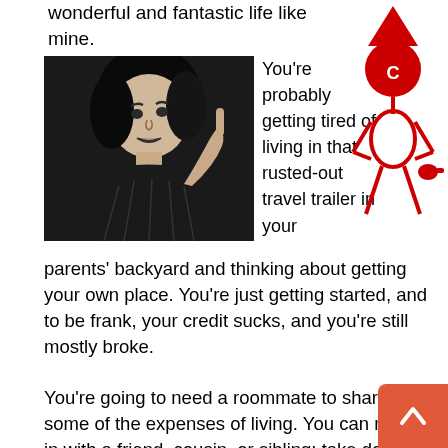wonderful and fantastic life like mine.
[Figure (photo): Black and white high-contrast photo of a woman pointing her finger, against a dark background]
You're probably getting tired of living in that rusted-out travel trailer in your parents' backyard and thinking about getting your own place. You're just getting started, and to be frank, your credit sucks, and you're still mostly broke.
[Figure (illustration): Red stick figure illustration of a person wearing a cap and holding a whistle, with hands on hips]
You're going to need a roommate to share some of the expenses of living. You can move in with a friend, cousin, or sibling; take down phone numbers off bathroom walls; or search Craigslist, which is basically the internet's version of